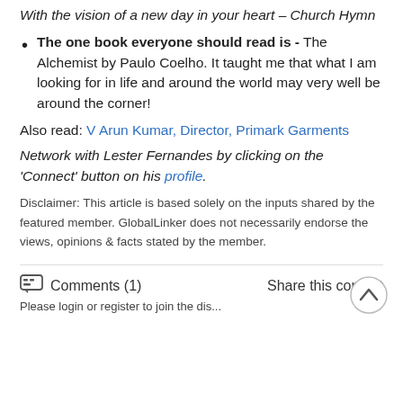With the vision of a new day in your heart – Church Hymn
The one book everyone should read is - The Alchemist by Paulo Coelho. It taught me that what I am looking for in life and around the world may very well be around the corner!
Also read: V Arun Kumar, Director, Primark Garments
Network with Lester Fernandes by clicking on the 'Connect' button on his profile.
Disclaimer: This article is based solely on the inputs shared by the featured member. GlobalLinker does not necessarily endorse the views, opinions & facts stated by the member.
Comments (1)   Share this content